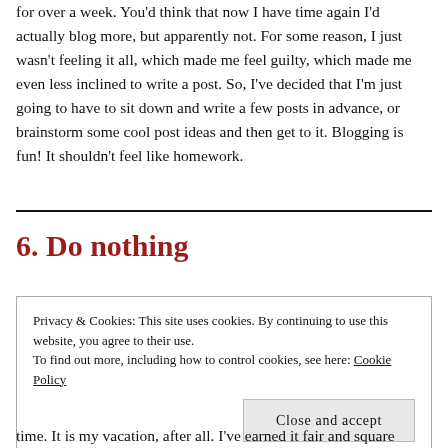for over a week. You'd think that now I have time again I'd actually blog more, but apparently not. For some reason, I just wasn't feeling it all, which made me feel guilty, which made me even less inclined to write a post. So, I've decided that I'm just going to have to sit down and write a few posts in advance, or brainstorm some cool post ideas and then get to it. Blogging is fun! It shouldn't feel like homework.
6. Do nothing
Privacy & Cookies: This site uses cookies. By continuing to use this website, you agree to their use.
To find out more, including how to control cookies, see here: Cookie Policy
time. It is my vacation, after all. I've earned it fair and square